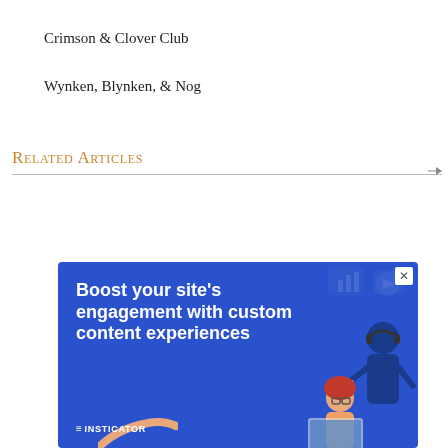Crimson & Clover Club
Wynken, Blynken, & Nog
Related Articles
[Figure (other): Advertisement banner for Insticator: 'Boost your site's engagement with custom content experiences' on blue background with illustrated characters]